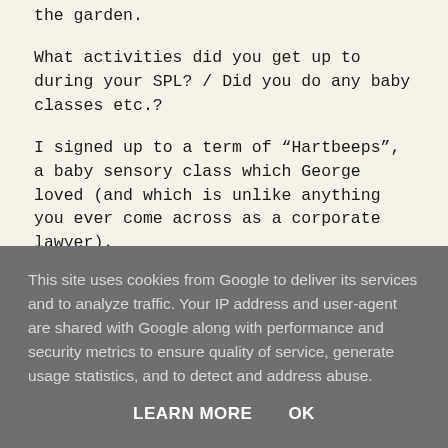the garden.
What activities did you get up to during your SPL? / Did you do any baby classes etc.?
I signed up to a term of “Hartbeeps”, a baby sensory class which George loved (and which is unlike anything you ever come across as a corporate lawyer).
In terms of parenting, was there anything that you felt, as a Dad, you couldn't do?
This site uses cookies from Google to deliver its services and to analyze traffic. Your IP address and user-agent are shared with Google along with performance and security metrics to ensure quality of service, generate usage statistics, and to detect and address abuse.
LEARN MORE   OK